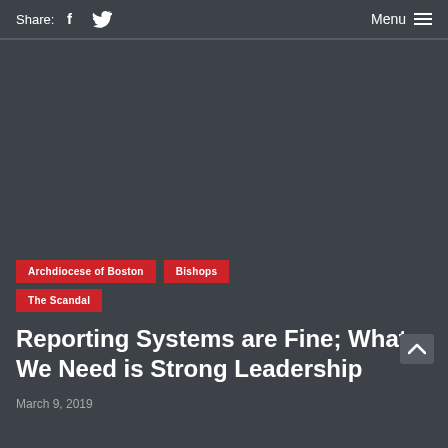Share: [Facebook] [Twitter]   Menu
[Figure (other): Dark grey hero image area, no visible photo content]
Archdiocese of Boston   Bishops   The Scandal
Reporting Systems are Fine; What We Need is Strong Leadership
March 9, 2019